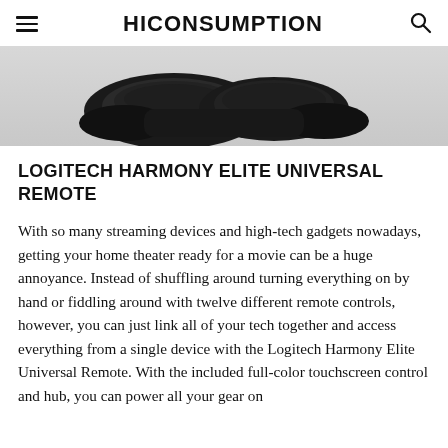HICONSUMPTION
[Figure (photo): Close-up product photo of the Logitech Harmony Elite Universal Remote, showing dark device against light background]
LOGITECH HARMONY ELITE UNIVERSAL REMOTE
With so many streaming devices and high-tech gadgets nowadays, getting your home theater ready for a movie can be a huge annoyance. Instead of shuffling around turning everything on by hand or fiddling around with twelve different remote controls, however, you can just link all of your tech together and access everything from a single device with the Logitech Harmony Elite Universal Remote. With the included full-color touchscreen control and hub, you can power all your gear on